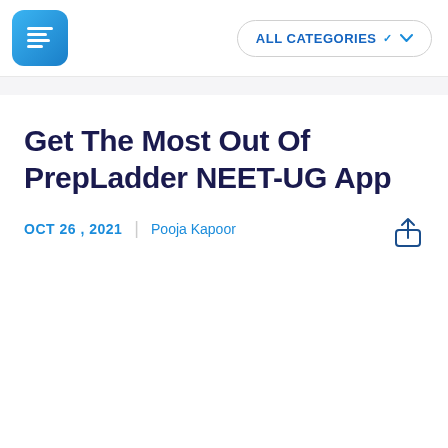[Figure (logo): PrepLadder app logo — blue square with white grid/lines icon]
ALL CATEGORIES
Get The Most Out Of PrepLadder NEET-UG App
OCT 26 , 2021  |  Pooja Kapoor